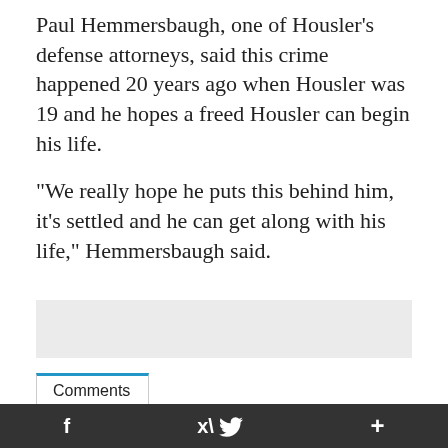Paul Hemmersbaugh, one of Housler's defense attorneys, said this crime happened 20 years ago when Housler was 19 and he hopes a freed Housler can begin his life.
"We really hope he puts this behind him, it's settled and he can get along with his life," Hemmersbaugh said.
[Figure (other): Gray advertisement placeholder box]
Comments
Sign in  Register
f  [twitter bird]  +